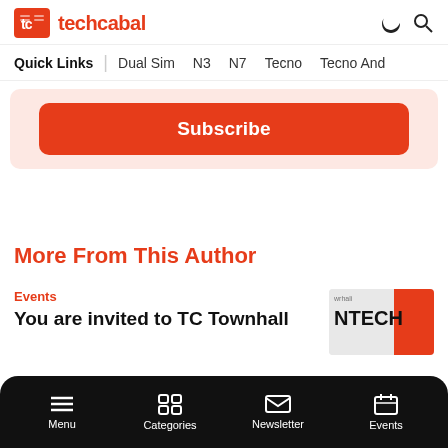techcabal
Quick Links | Dual Sim N3 N7 Tecno Tecno And
Subscribe
More From This Author
Events
You are invited to TC Townhall
Menu Categories Newsletter Events